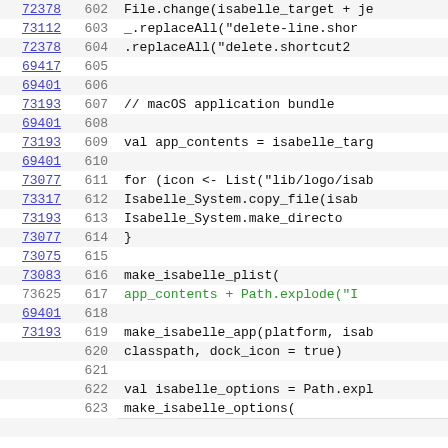[Figure (screenshot): Source code viewer showing lines 602–623 with linked line number references in left column, line numbers in second column, and code content in third column. Line 617 has green text. Alternating row background colors.]